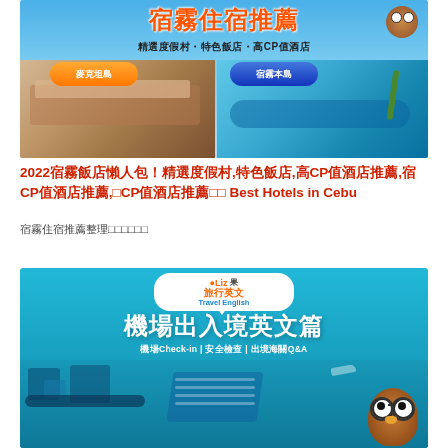[Figure (illustration): Hotel accommodation recommendation banner in Traditional Chinese. Title reads '宿霧住宿推薦' (Cebu Accommodation Recommendations), subtitle '精選度假村・特色飯店・高CP值酒店' (Selected resorts, featured hotels, high value hotels). Two buttons: orange '麥克坦島' (Mactan Island) and blue '宿霧本島' (Cebu Island). Shows hotel room and resort pool images.]
2022宿霧飯店懶人包！精選度假村,特色飯店,高CP值酒店推薦,Best Hotels in Cebu
宿霧住宿推薦整理
[Figure (illustration): Travel English educational banner. Logo with '旅行英文 Travel English' label. Large title '機場出入境英文篇' (Airport Immigration English). Subtitle '機場Check-in | 安全檢查 | 出境海關Q&A'. Shows airport security illustration with conveyor belt, escalator, passengers, and an owl character with glasses.]